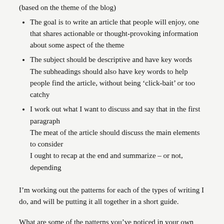(based on the theme of the blog)
The goal is to write an article that people will enjoy, one that shares actionable or thought-provoking information about some aspect of the theme
The subject should be descriptive and have key words The subheadings should also have key words to help people find the article, without being ‘click-bait’ or too catchy
I work out what I want to discuss and say that in the first paragraph The meat of the article should discuss the main elements to consider I ought to recap at the end and summarize – or not, depending
I’m working out the patterns for each of the types of writing I do, and will be putting it all together in a short guide.
What are some of the patterns you’ve noticed in your own